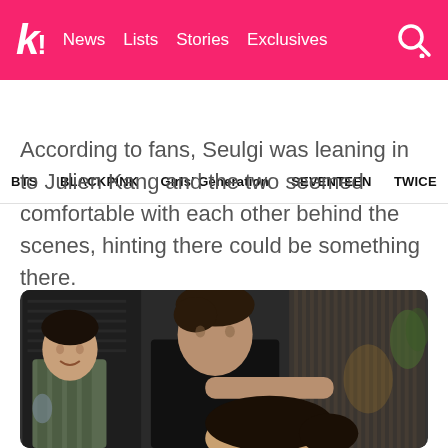k! News  Lists  Stories  Exclusives
BTS  BLACKPINK  Girls' Generation  SEVENTEEN  TWICE
According to fans, Seulgi was leaning in to Julien Kang and the two seemed comfortable with each other behind the scenes, hinting there could be something there.
[Figure (photo): A group photo showing multiple people seated together indoors, with a man in black shirt leaning over a woman in front, and another man in plaid shirt on the left. Decorative wall panels visible in background.]